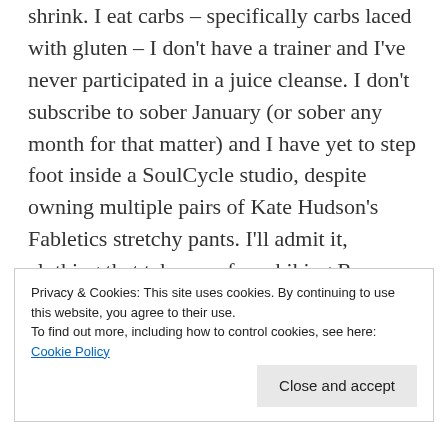shrink. I eat carbs – specifically carbs laced with gluten – I don't have a trainer and I've never participated in a juice cleanse. I don't subscribe to sober January (or sober any month for that matter) and I have yet to step foot inside a SoulCycle studio, despite owning multiple pairs of Kate Hudson's Fabletics stretchy pants. I'll admit it, clothing that takes me from hiking Runyon right onto brunch just makes sense. I can't believe I just typed that.
Privacy & Cookies: This site uses cookies. By continuing to use this website, you agree to their use.
To find out more, including how to control cookies, see here: Cookie Policy